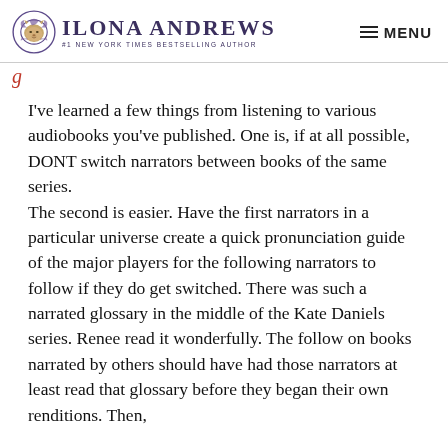ILONA ANDREWS — #1 NEW YORK TIMES BESTSELLING AUTHOR — MENU
I've learned a few things from listening to various audiobooks you've published. One is, if at all possible, DONT switch narrators between books of the same series. The second is easier. Have the first narrators in a particular universe create a quick pronunciation guide of the major players for the following narrators to follow if they do get switched. There was such a narrated glossary in the middle of the Kate Daniels series. Renee read it wonderfully. The follow on books narrated by others should have had those narrators at least read that glossary before they began their own renditions. Then,